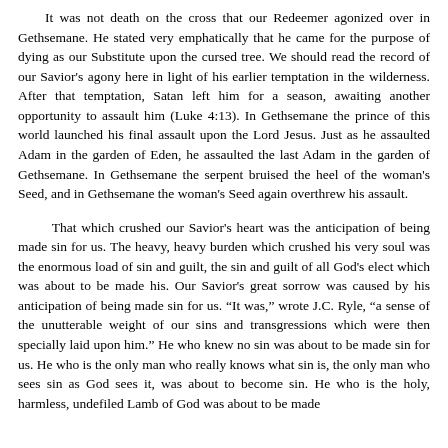It was not death on the cross that our Redeemer agonized over in Gethsemane. He stated very emphatically that he came for the purpose of dying as our Substitute upon the cursed tree. We should read the record of our Savior's agony here in light of his earlier temptation in the wilderness. After that temptation, Satan left him for a season, awaiting another opportunity to assault him (Luke 4:13). In Gethsemane the prince of this world launched his final assault upon the Lord Jesus. Just as he assaulted Adam in the garden of Eden, he assaulted the last Adam in the garden of Gethsemane. In Gethsemane the serpent bruised the heel of the woman's Seed, and in Gethsemane the woman's Seed again overthrew his assault.
That which crushed our Savior's heart was the anticipation of being made sin for us. The heavy, heavy burden which crushed his very soul was the enormous load of sin and guilt, the sin and guilt of all God's elect which was about to be made his. Our Savior's great sorrow was caused by his anticipation of being made sin for us. "It was," wrote J.C. Ryle, "a sense of the unutterable weight of our sins and transgressions which were then specially laid upon him." He who knew no sin was about to be made sin for us. He who is the only man who really knows what sin is, the only man who sees sin as God sees it, was about to become sin. He who is the holy, harmless, undefiled Lamb of God was about to be made